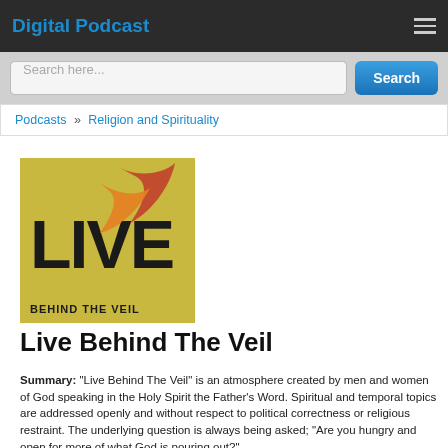Digital Podcast
Search here...
Podcasts » Religion and Spirituality
[Figure (logo): Live Behind The Veil podcast logo — yellow/gold background with large black letters 'LIVE', a stylized red/orange swoosh bird shape, and text 'BEHIND THE VEIL' at the bottom.]
Live Behind The Veil
Summary: "Live Behind The Veil" is an atmosphere created by men and women of God speaking in the Holy Spirit the Father's Word. Spiritual and temporal topics are addressed openly and without respect to political correctness or religious restraint. The underlying question is always being asked; "Are you hungry and open for more of what God is pouring out?"